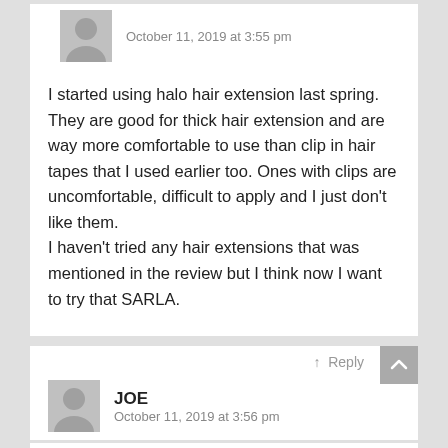[Figure (illustration): Gray silhouette avatar icon of a person, with date metadata 'October 11, 2019 at 3:55 pm']
I started using halo hair extension last spring. They are good for thick hair extension and are way more comfortable to use than clip in hair tapes that I used earlier too. Ones with clips are uncomfortable, difficult to apply and I just don't like them.
I haven't tried any hair extensions that was mentioned in the review but I think now I want to try that SARLA.
↑ Reply
[Figure (illustration): Gray silhouette avatar icon of a person next to author name JOE and date October 11, 2019 at 3:56 pm]
Hello, Chloe! Recently my friend got herself awesome hair extensions that almost similar to that